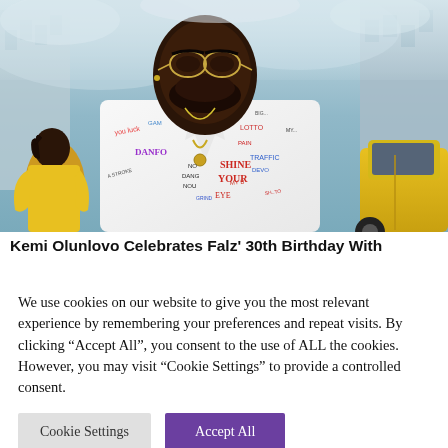[Figure (photo): A Black man with round glasses and a beard wearing a white jacket/shirt covered in colorful graffiti-style text (words like DANFO, SHINE YOUR EYE, LOTTO, TRAFFIC, etc.), with gold chain necklaces. A woman in a yellow shirt stands to his left, and another person stands behind him. Urban background with buildings and a yellow car on the right. Smoky/hazy atmosphere suggesting a Nigerian street scene.]
Kemi Olunlovo Celebrates Falz' 30th Birthday With
We use cookies on our website to give you the most relevant experience by remembering your preferences and repeat visits. By clicking “Accept All”, you consent to the use of ALL the cookies. However, you may visit “Cookie Settings” to provide a controlled consent.